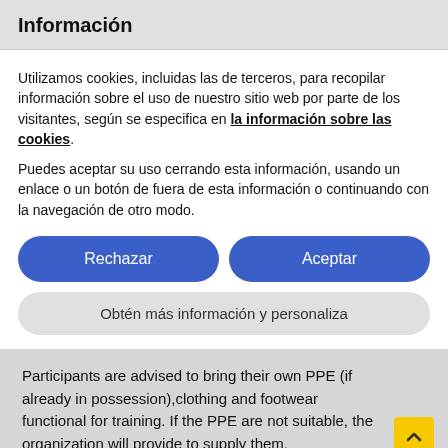Información
Utilizamos cookies, incluidas las de terceros, para recopilar información sobre el uso de nuestro sitio web por parte de los visitantes, según se especifica en la información sobre las cookies.
Puedes aceptar su uso cerrando esta información, usando un enlace o un botón de fuera de esta información o continuando con la navegación de otro modo.
Rechazar
Aceptar
Obtén más información y personaliza
Participants are advised to bring their own PPE (if already in possession),clothing and footwear functional for training. If the PPE are not suitable, the organization will provide to supply them.